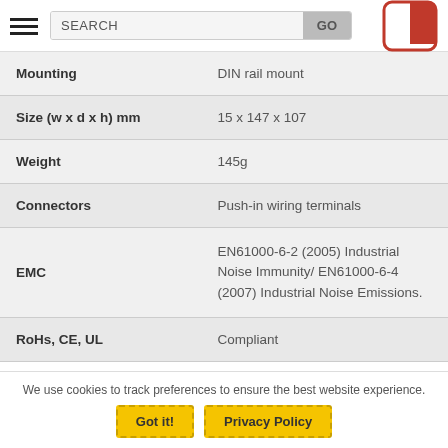SEARCH GO
| Property | Value |
| --- | --- |
| Mounting | DIN rail mount |
| Size (w x d x h) mm | 15 x 147 x 107 |
| Weight | 145g |
| Connectors | Push-in wiring terminals |
| EMC | EN61000-6-2 (2005) Industrial Noise Immunity/ EN61000-6-4 (2007) Industrial Noise Emissions. |
| RoHs, CE, UL | Compliant |
We use cookies to track preferences to ensure the best website experience.
Got it!
Privacy Policy